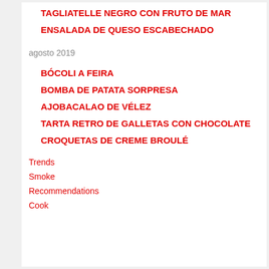TAGLIATELLE NEGRO CON FRUTO DE MAR
ENSALADA DE QUESO ESCABECHADO
agosto 2019
BÓCOLI A FEIRA
BOMBA DE PATATA SORPRESA
AJOBACALAO DE VÉLEZ
TARTA RETRO DE GALLETAS CON CHOCOLATE
CROQUETAS DE CREME BROULÉ
Trends
Smoke
Recommendations
Cook